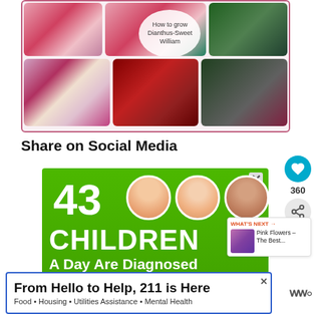[Figure (photo): Photo collage of Dianthus Sweet William flowers with text overlay 'How to grow Dianthus-Sweet William'. Shows pink carnation-type flowers, red clusters, and dark foliage.]
Share on Social Media
[Figure (infographic): Green advertisement banner: '43 CHILDREN A Day Are Diagnosed With Cancer in the U.S.' with three circular portraits of children and a close button.]
[Figure (photo): What's Next sidebar card showing pink flowers thumbnail with text 'Pink Flowers – The Best...']
[Figure (infographic): Bottom banner advertisement: 'From Hello to Help, 211 is Here' with subtitle 'Food • Housing • Utilities Assistance • Mental Health']